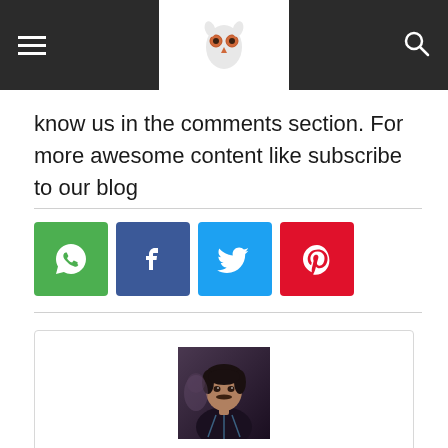Navigation bar with hamburger menu, owl logo, and search icon
know us in the comments section. For more awesome content like subscribe to our blog
[Figure (infographic): Social share buttons: WhatsApp (green), Facebook (dark blue), Twitter (light blue), Pinterest (red)]
[Figure (photo): Author profile photo of Darsh — a young man with dark hair wearing a dark embroidered outfit]
Darsh